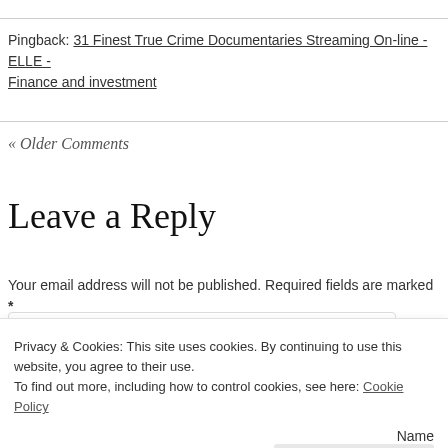Pingback: 31 Finest True Crime Documentaries Streaming On-line - ELLE - Finance and investment
« Older Comments
Leave a Reply
Your email address will not be published. Required fields are marked *
Privacy & Cookies: This site uses cookies. By continuing to use this website, you agree to their use.
To find out more, including how to control cookies, see here: Cookie Policy
Close and accept
Name